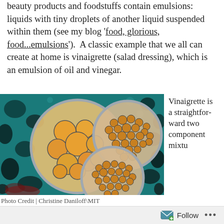beauty products and foodstuffs contain emulsions: liquids with tiny droplets of another liquid suspended within them (see my blog 'food, glorious, food...emulsions').  A classic example that we all can create at home is vinaigrette (salad dressing), which is an emulsion of oil and vinegar.
[Figure (photo): Microscopic image of complex emulsions designed by MIT researchers, showing three large circular droplets containing smaller orange droplets, set against a colorful blue and dark background.]
Photo Credit | Christine Daniloff\MIT
MIT researchers designed these complex emulsions
Vinaigrette is a straightforward two component mixtu
Follow ...